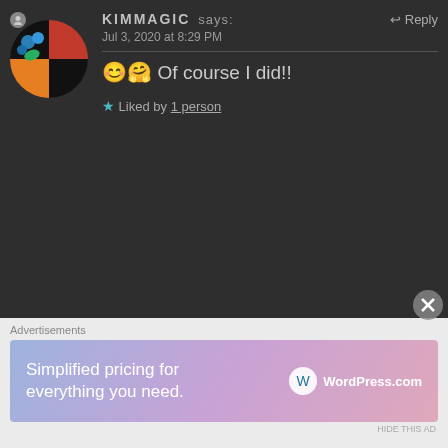KIMMAGIC says: Jul 3, 2020 at 8:29 PM → Reply
😊🤗 Of course I did!!
★ Liked by 1 person
THE BOLD GIRL says: Reply
Jul 4, 2020 at 12:29 AM
😊😊
★ Liked by 1 person
Advertisements
Simplified pricing for everything you need. WordPress.com